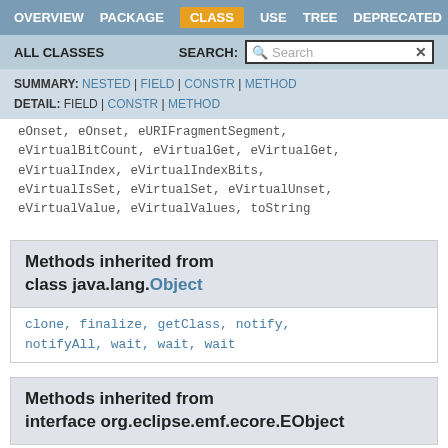OVERVIEW  PACKAGE  CLASS  USE  TREE  DEPRECATED
ALL CLASSES   SEARCH:  Search
SUMMARY: NESTED | FIELD | CONSTR | METHOD  DETAIL: FIELD | CONSTR | METHOD
eOnset, eOnset, eURIFragmentSegment, eVirtualBitCount, eVirtualGet, eVirtualGet, eVirtualIndex, eVirtualIndexBits, eVirtualIsSet, eVirtualSet, eVirtualUnset, eVirtualValue, eVirtualValues, toString
Methods inherited from class java.lang.Object
clone, finalize, getClass, notify, notifyAll, wait, wait, wait
Methods inherited from interface org.eclipse.emf.ecore.EObject